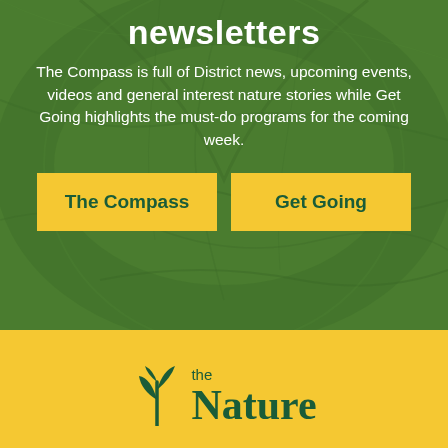newsletters
The Compass is full of District news, upcoming events, videos and general interest nature stories while Get Going highlights the must-do programs for the coming week.
[Figure (other): Two yellow buttons side by side: 'The Compass' and 'Get Going' on a green leaf-textured background]
[Figure (logo): The Nature Conservancy logo with plant sprout icon, text reads 'the Nature' in dark green on yellow background]